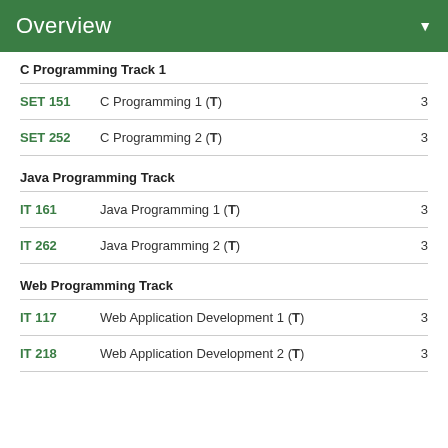Overview
C Programming Track 1
SET 151 — C Programming 1 (T) — 3
SET 252 — C Programming 2 (T) — 3
Java Programming Track
IT 161 — Java Programming 1 (T) — 3
IT 262 — Java Programming 2 (T) — 3
Web Programming Track
IT 117 — Web Application Development 1 (T) — 3
IT 218 — Web Application Development 2 (T) — 3